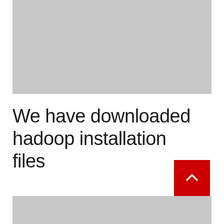[Figure (screenshot): Gray placeholder image at top of page]
We have downloaded hadoop installation files
[Figure (screenshot): Red scroll-up button with chevron arrow, and partial gray image at bottom of page]